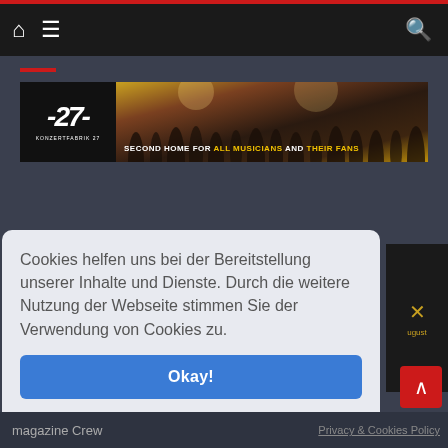Navigation bar with home icon, hamburger menu, and search icon
[Figure (illustration): Konzertfabrik 27 banner ad: black logo panel on left with stylized '27' text and 'KONZERTFABRIK 27' subtitle; right panel shows concert crowd with raised hands and text 'SECOND HOME FOR ALL MUSICIANS AND THEIR FANS']
Cookies helfen uns bei der Bereitstellung unserer Inhalte und Dienste. Durch die weitere Nutzung der Webseite stimmen Sie der Verwendung von Cookies zu.
Okay!
magazine Crew  Privacy & Cookies Policy